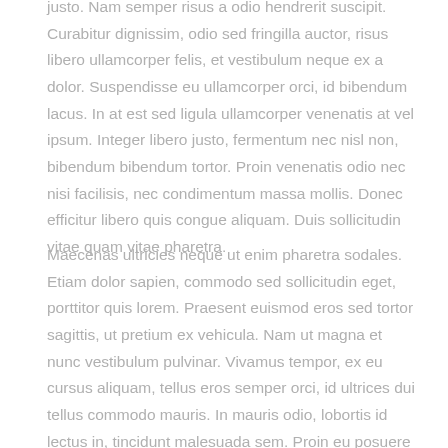justo. Nam semper risus a odio hendrerit suscipit. Curabitur dignissim, odio sed fringilla auctor, risus libero ullamcorper felis, et vestibulum neque ex a dolor. Suspendisse eu ullamcorper orci, id bibendum lacus. In at est sed ligula ullamcorper venenatis at vel ipsum. Integer libero justo, fermentum nec nisl non, bibendum bibendum tortor. Proin venenatis odio nec nisi facilisis, nec condimentum massa mollis. Donec efficitur libero quis congue aliquam. Duis sollicitudin vitae quam vitae pharetra.
Maecenas ultricies neque ut enim pharetra sodales. Etiam dolor sapien, commodo sed sollicitudin eget, porttitor quis lorem. Praesent euismod eros sed tortor sagittis, ut pretium ex vehicula. Nam ut magna et nunc vestibulum pulvinar. Vivamus tempor, ex eu cursus aliquam, tellus eros semper orci, id ultrices dui tellus commodo mauris. In mauris odio, lobortis id lectus in, tincidunt malesuada sem. Proin eu posuere metus. Vestibulum ante ipsum primis in faucibus orci luctus et ultrices posuere cubilia